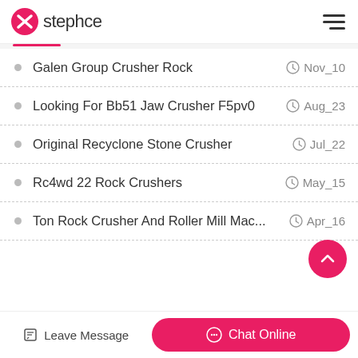stephce
Galen Group Crusher Rock
Looking For Bb51 Jaw Crusher F5pv0
Original Recyclone Stone Crusher
Rc4wd 22 Rock Crushers
Ton Rock Crusher And Roller Mill Mac...
Leave Message  Chat Online